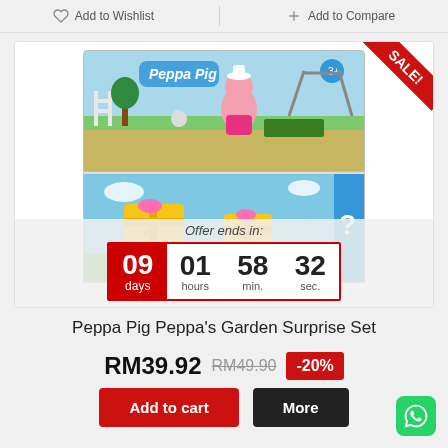Add to Wishlist
Add to Compare
[Figure (photo): Peppa Pig Peppa's Garden Surprise Set product box showing Peppa Pig characters in a garden scene. Includes a SALE badge in the top-right corner. A countdown timer overlay shows 09 days, 01 hours, 58 min., 32 sec. with the text 'Offer ends in:'.]
Peppa Pig Peppa's Garden Surprise Set
RM39.92 RM49.90 -20%
Add to cart  More